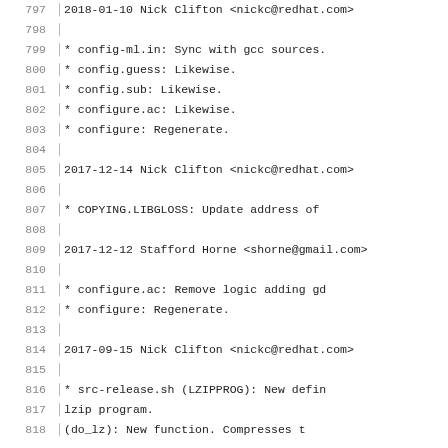797  2018-01-10  Nick Clifton  <nickc@redhat.com>
798
799          * config-ml.in: Sync with gcc sources.
800          * config.guess: Likewise.
801          * config.sub: Likewise.
802          * configure.ac: Likewise.
803          * configure: Regenerate.
804
805  2017-12-14  Nick Clifton  <nickc@redhat.com>
806
807          * COPYING.LIBGLOSS: Update address of
808
809  2017-12-12  Stafford Horne  <shorne@gmail.com>
810
811          * configure.ac: Remove logic adding gd
812          * configure: Regenerate.
813
814  2017-09-15  Nick Clifton  <nickc@redhat.com>
815
816          * src-release.sh (LZIPPROG): New defin
817          lzip program.
818          (do_lz): New function.  Compresses t